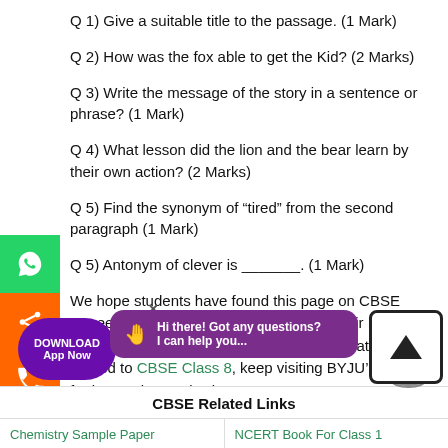Q 1) Give a suitable title to the passage. (1 Mark)
Q 2) How was the fox able to get the Kid? (2 Marks)
Q 3) Write the message of the story in a sentence or phrase? (1 Mark)
Q 4) What lesson did the lion and the bear learn by their own action? (2 Marks)
Q 5) Find the synonym of “tired” from the second paragraph (1 Mark)
Q 5) Antonym of clever is _______. (1 Mark)
We hope students have found this page on CBSE Unseen Passage for Class 8 helpful for their English exam preparation. To access more study material related to CBSE Class 8, keep visiting BYJU’S app for interactive study vi...
CBSE Related Links
Chemistry Sample Paper
NCERT Book For Class 1